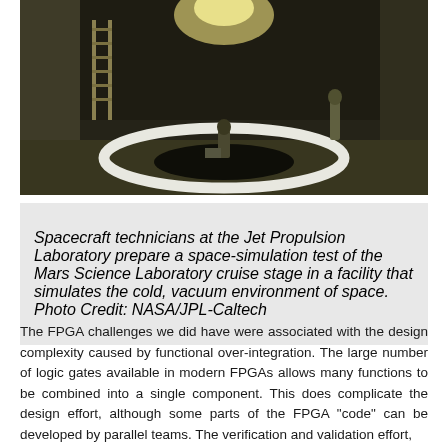[Figure (photo): Dark industrial facility interior showing spacecraft technicians preparing a space-simulation test, with a large white circular ring marking on the floor, overhead lighting glow, and facility walls.]
Spacecraft technicians at the Jet Propulsion Laboratory prepare a space-simulation test of the Mars Science Laboratory cruise stage in a facility that simulates the cold, vacuum environment of space.
Photo Credit: NASA/JPL-Caltech
The FPGA challenges we did have were associated with the design complexity caused by functional over-integration. The large number of logic gates available in modern FPGAs allows many functions to be combined into a single component. This does complicate the design effort, although some parts of the FPGA "code" can be developed by parallel teams. The verification and validation effort,